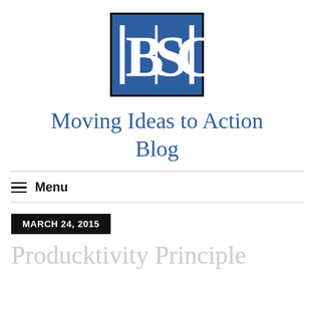[Figure (logo): BSC logo — blue square with white letters B, S, C and vertical bars]
Moving Ideas to Action Blog
≡ Menu
MARCH 24, 2015
Producktivity Principle